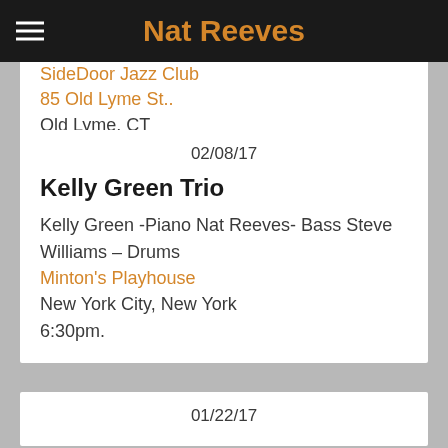Nat Reeves
SideDoor Jazz Club
85 Old Lyme St..
Old Lyme, CT
8:30pm.
02/08/17
Kelly Green Trio
Kelly Green -Piano Nat Reeves- Bass Steve Williams – Drums
Minton's Playhouse
New York City, New York
6:30pm.
01/22/17